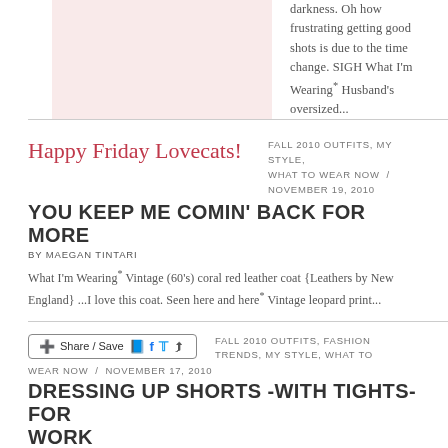[Figure (photo): Pink/blush colored placeholder image block]
darkness. Oh how frustrating getting good shots is due to the time change. SIGH What I'm Wearing* Husband's oversized...
Happy Friday Lovecats!
FALL 2010 OUTFITS, MY STYLE, WHAT TO WEAR NOW / NOVEMBER 19, 2010
YOU KEEP ME COMIN' BACK FOR MORE
BY MAEGAN TINTARI
What I'm Wearing* Vintage (60's) coral red leather coat {Leathers by New England} ...I love this coat. Seen here and here* Vintage leopard print...
[Figure (screenshot): Share / Save button with social media icons (Facebook, Twitter, share arrow)]
FALL 2010 OUTFITS, FASHION TRENDS, MY STYLE, WHAT TO WEAR NOW / NOVEMBER 17, 2010
DRESSING UP SHORTS -WITH TIGHTS- FOR WORK